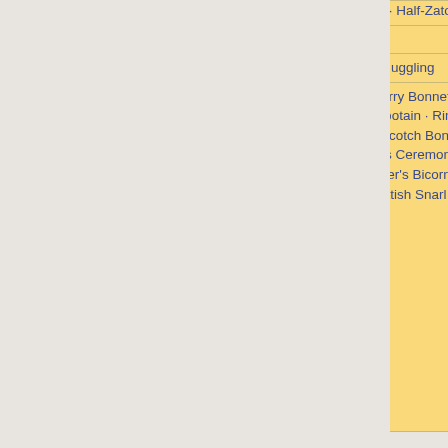|  |  |
| --- | --- |
|  | Claidheamh Mòr · Half-Zatoichi · Persian Persuader |
| Kill taunt | Decapitation |
| Abilities | Sticky jump · Charging · Juggling |
|  | Demoman's Fro · Glengarry Bonnet · Scotsman's Stove Pipe · Hustler's Hallmark · Tipple-r Tricorne · Carouser's Capotain · Rimmed Raincatcher · Sober Stuntman · Dangeresque, Too? · Tavish's Crown · Scotch Bonnet · Samur-Eye · Reggaelator · Private Eye · Conjurer's Cowl · Sultan's Ceremonial · Tam O' Shanter · M the Shaman · A Whiff of the Old Brimstone · Buccaneer's Bicorne With No Name · Tavish DeGroot Experience · Hair of the Dog · Pic Paws · Scottish Snarl · All-Father · Ornament |